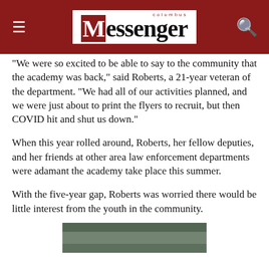columbus Messenger
“We were so excited to be able to say to the community that the academy was back,” said Roberts, a 21-year veteran of the department. “We had all of our activities planned, and we were just about to print the flyers to recruit, but then COVID hit and shut us down.”
When this year rolled around, Roberts, her fellow deputies, and her friends at other area law enforcement departments were adamant the academy take place this summer.
With the five-year gap, Roberts was worried there would be little interest from the youth in the community.
[Figure (photo): Partial photo visible at bottom of page showing people indoors]